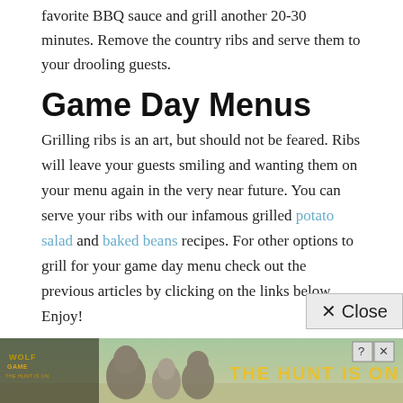favorite BBQ sauce and grill another 20-30 minutes. Remove the country ribs and serve them to your drooling guests.
Game Day Menus
Grilling ribs is an art, but should not be feared. Ribs will leave your guests smiling and wanting them on your menu again in the very near future. You can serve your ribs with our infamous grilled potato salad and baked beans recipes. For other options to grill for your game day menu check out the previous articles by clicking on the links below. Enjoy!
Halloween Game Day Menu: New Orleans Style
Football Season Begins: What's on Your menu?
Oktoberfest and Your Sunday Football Menu
[Figure (screenshot): Advertisement banner for Wolf Game: The Hunt is On! showing wolves in a meadow with golden text.]